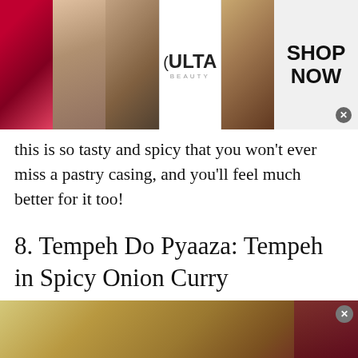[Figure (advertisement): Ulta Beauty ad banner with cosmetic images (lips, makeup brush, eye, Ulta logo, smoky eye) and SHOP NOW text]
this is so tasty and spicy that you won't ever miss a pastry casing, and you'll feel much better for it too!
8. Tempeh Do Pyaaza: Tempeh in Spicy Onion Curry
[Figure (photo): Food photo showing curry dish]
[Figure (advertisement): Color Ball Sort Puzzle app advertisement with pink background, tube sorting game graphic, app icon, name and download button]